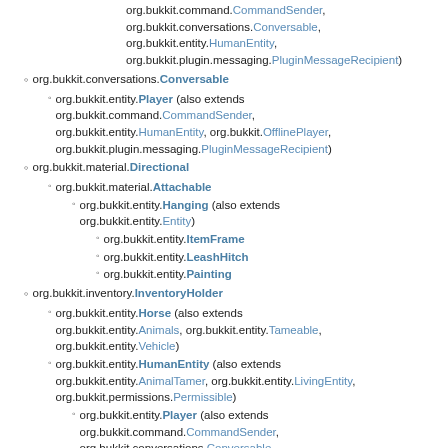org.bukkit.command.CommandSender, org.bukkit.conversations.Conversable, org.bukkit.entity.HumanEntity, org.bukkit.plugin.messaging.PluginMessageRecipient)
org.bukkit.conversations.Conversable
org.bukkit.entity.Player (also extends org.bukkit.command.CommandSender, org.bukkit.entity.HumanEntity, org.bukkit.OfflinePlayer, org.bukkit.plugin.messaging.PluginMessageRecipient)
org.bukkit.material.Directional
org.bukkit.material.Attachable
org.bukkit.entity.Hanging (also extends org.bukkit.entity.Entity)
org.bukkit.entity.ItemFrame
org.bukkit.entity.LeashHitch
org.bukkit.entity.Painting
org.bukkit.inventory.InventoryHolder
org.bukkit.entity.Horse (also extends org.bukkit.entity.Animals, org.bukkit.entity.Tameable, org.bukkit.entity.Vehicle)
org.bukkit.entity.HumanEntity (also extends org.bukkit.entity.AnimalTamer, org.bukkit.entity.LivingEntity, org.bukkit.permissions.Permissible)
org.bukkit.entity.Player (also extends org.bukkit.command.CommandSender, org.bukkit.conversations.Conversable, org.bukkit.OfflinePlayer, org.bukkit.plugin.messaging.PluginMessageRecipient)
org.bukkit.entity.minecart.StorageMinecart (also extends org.bukkit.entity.Minecart)
org.bukkit.entity.StorageMinecart
org.bukkit.entity.Villager (also extends org.bukkit.entity.Ageable, org.bukkit.entity.NPC)